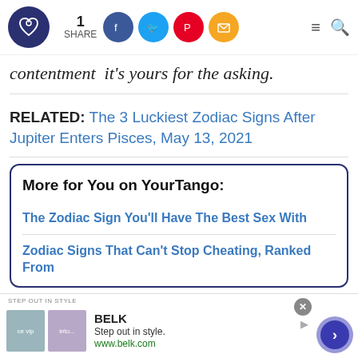1 SHARE | YourTango logo | Facebook, Twitter, Pinterest, Email social icons | Menu | Search
contentment  it's yours for the asking.
RELATED: The 3 Luckiest Zodiac Signs After Jupiter Enters Pisces, May 13, 2021
More for You on YourTango:
The Zodiac Sign You'll Have The Best Sex With
Zodiac Signs That Can't Stop Cheating, Ranked From
[Figure (screenshot): BELK advertisement banner: Step out in style. www.belk.com with two fashion images and a navigation arrow button]